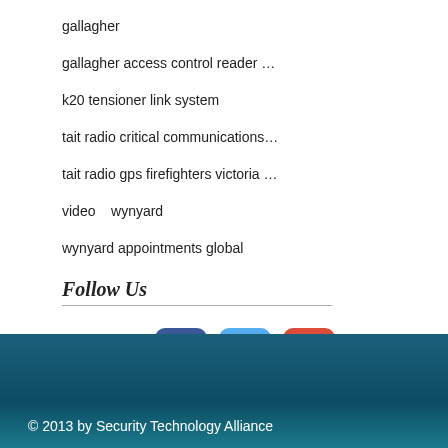Search By Tags
gallagher
gallagher access control reader …
k20 tensioner link system
tait radio critical communications…
tait radio gps firefighters victoria …
video    wynyard
wynyard appointments global
Follow Us
[Figure (logo): Social media icons: Facebook (blue rounded square with f), Twitter (light blue rounded square with bird), Google+ (orange/red rounded square with g+)]
© 2013 by Security Technology Alliance